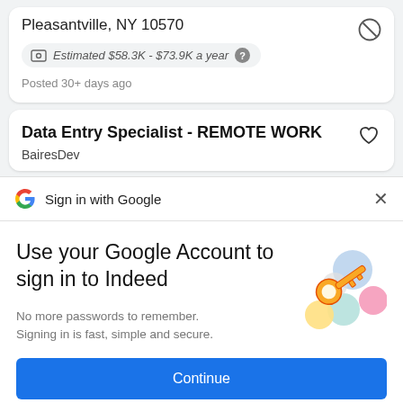Pleasantville, NY 10570
Estimated $58.3K - $73.9K a year
Posted 30+ days ago
Data Entry Specialist - REMOTE WORK
BairesDev
Sign in with Google
Use your Google Account to sign in to Indeed
No more passwords to remember. Signing in is fast, simple and secure.
[Figure (illustration): Colorful key and circles illustration representing secure sign-in]
Continue